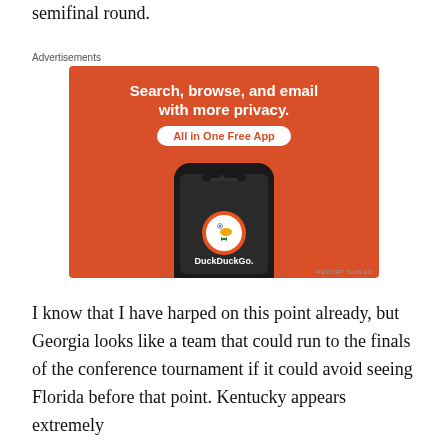semifinal round.
[Figure (illustration): DuckDuckGo advertisement: orange background with text 'Search, browse, and email with more privacy. All in One Free App' and an illustration of a smartphone showing the DuckDuckGo logo and app icon.]
I know that I have harped on this point already, but Georgia looks like a team that could run to the finals of the conference tournament if it could avoid seeing Florida before that point. Kentucky appears extremely